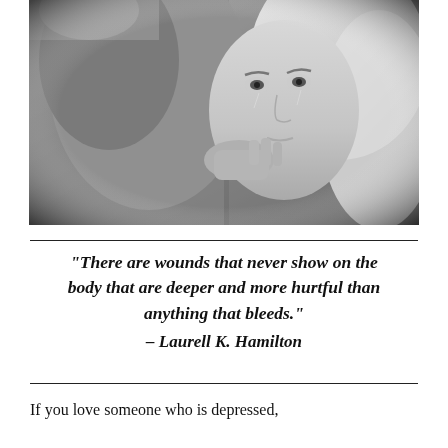[Figure (photo): Black and white photograph of a young blonde woman with tears in her eyes, pressing her face against a man's shoulder/back. She looks emotionally distressed, holding onto him.]
“There are wounds that never show on the body that are deeper and more hurtful than anything that bleeds.” – Laurell K. Hamilton
If you love someone who is depressed,